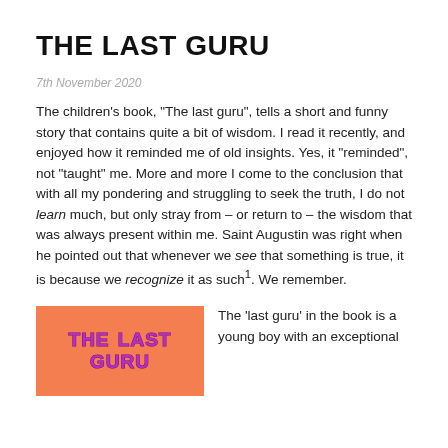THE LAST GURU
7th November 2020
The children’s book, “The last guru”, tells a short and funny story that contains quite a bit of wisdom. I read it recently, and enjoyed how it reminded me of old insights. Yes, it “reminded”, not “taught” me. More and more I come to the conclusion that with all my pondering and struggling to seek the truth, I do not learn much, but only stray from – or return to – the wisdom that was always present within me. Saint Augustin was right when he pointed out that whenever we see that something is true, it is because we recognize it as such¹. We remember.
[Figure (illustration): Book cover for 'THE LAST GURU' with orange background and purple bubbly text]
The ‘last guru’ in the book is a young boy with an exceptional